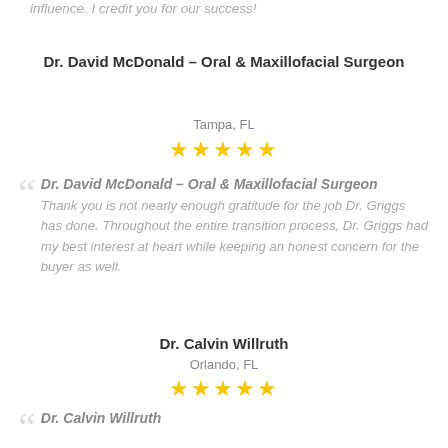influence. I credit you for our success!
Dr. David McDonald – Oral & Maxillofacial Surgeon
Tampa, FL
[Figure (other): 5 yellow star rating]
Dr. David McDonald – Oral & Maxillofacial Surgeon
Thank you is not nearly enough gratitude for the job Dr. Griggs has done. Throughout the entire transition process, Dr. Griggs had my best interest at heart while keeping an honest concern for the buyer as well.
Dr. Calvin Willruth
Orlando, FL
[Figure (other): 5 yellow star rating]
Dr. Calvin Willruth